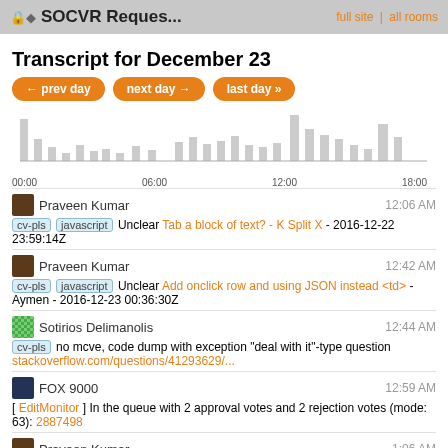SOCVR Reques... | full site | all rooms
Transcript for December 23
[Figure (bar-chart): Activity over time]
Praveen Kumar 12:06 AM cv-pls javascript Unclear Tab a block of text? - K Split X - 2016-12-22 23:59:14Z
Praveen Kumar 12:42 AM cv-pls javascript Unclear Add onclick row and using JSON instead <td> - Aymen - 2016-12-23 00:36:30Z
Sotirios Delimanolis 12:44 AM cv-pls no mcve, code dump with exception "deal with it"-type question stackoverflow.com/questions/41293629/...
FOX 9000 12:59 AM [ EditMonitor ] In the queue with 2 approval votes and 2 rejection votes (mode: 63): 2887498
Praveen Kumar 1:06 AM cv-pls php Unclear, No MCVE How do I access what is posted from PostAsync in